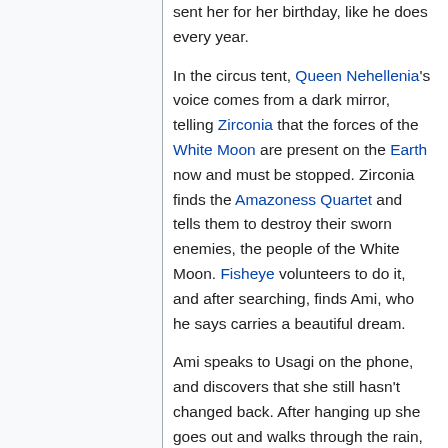sent her for her birthday, like he does every year.
In the circus tent, Queen Nehellenia's voice comes from a dark mirror, telling Zirconia that the forces of the White Moon are present on the Earth now and must be stopped. Zirconia finds the Amazoness Quartet and tells them to destroy their sworn enemies, the people of the White Moon. Fisheye volunteers to do it, and after searching, finds Ami, who he says carries a beautiful dream.
Ami speaks to Usagi on the phone, and discovers that she still hasn't changed back. After hanging up she goes out and walks through the rain, and passes a new fish store. She goes inside and finds tanks full of tropical fish, and the disguised PallaPalla sells her one that looks like one on the last postcard her...